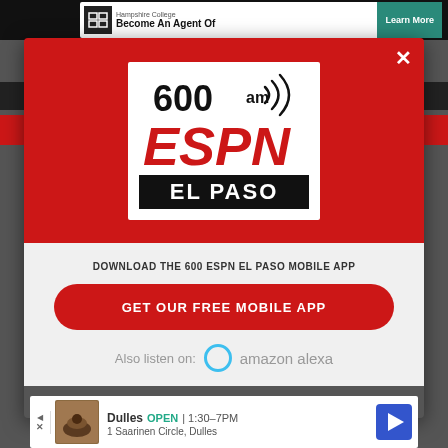[Figure (screenshot): Background webpage with dark top navigation bar and partially visible ad banner for Hampshire College reading 'Become An Agent Of...' with Learn More button]
[Figure (logo): 600 AM ESPN El Paso radio station logo — white background with '600 am' in black with radio wave symbols, 'ESPN' in large red italic bold letters, 'EL PASO' in white bold text on black bar]
DOWNLOAD THE 600 ESPN EL PASO MOBILE APP
GET OUR FREE MOBILE APP
Also listen on:  amazon alexa
[Figure (infographic): Bottom advertisement for Dulles restaurant showing food image, 'Dulles OPEN 1:30-7PM, 1 Saarinen Circle, Dulles' with navigation arrow icon]